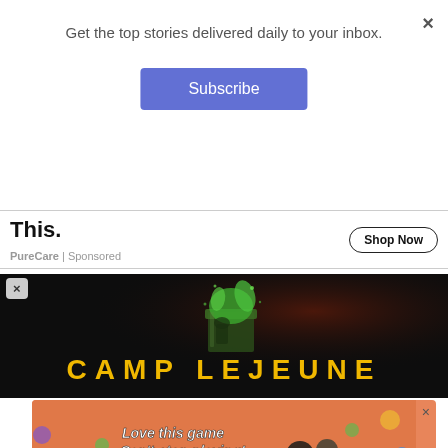Get the top stories delivered daily to your inbox.
Subscribe
This.
PureCare | Sponsored
Shop Now
[Figure (photo): Camp Lejeune advertisement banner with a dark background, green liquid/explosion effect, and yellow text reading 'CAMP LEJEUNE']
[Figure (photo): Mobile game advertisement with orange/coral background, text 'Love this game Can't stop playing!' and a green 'Download Now' button, with colorful game elements and 'Bubble Shooter Animal World' label]